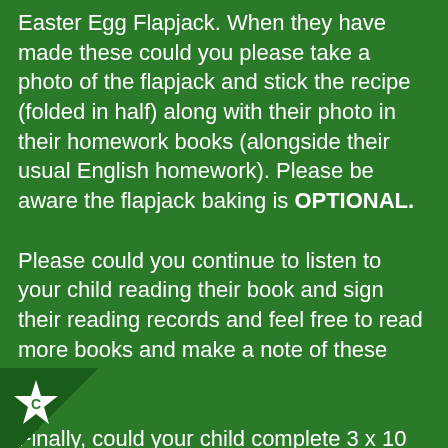Easter Egg Flapjack. When they have made these could you please take a photo of the flapjack and stick the recipe (folded in half) along with their photo in their homework books (alongside their usual English homework). Please be aware the flapjack baking is OPTIONAL.
Please could you continue to listen to your child reading their book and sign their reading records and feel free to read more books and make a note of these too!
Finally, could your child complete 3 x 10 minute sessions on TT Rockstars.
homework will need to be completed and in at school on Wednesday 30th April